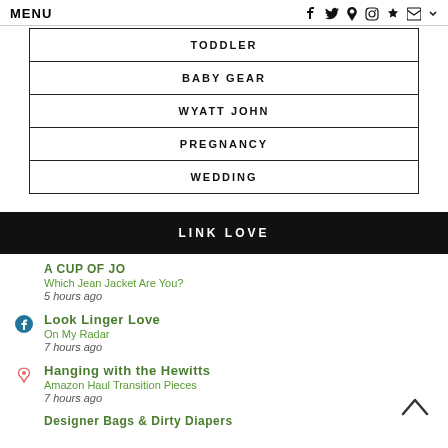MENU  f  t  p  o  ♥  ✉  ▾
TODDLER
BABY GEAR
WYATT JOHN
PREGNANCY
WEDDING
LINK LOVE
A CUP OF JO
Which Jean Jacket Are You?
5 hours ago
Look Linger Love
On My Radar
7 hours ago
Hanging with the Hewitts
Amazon Haul Transition Pieces
7 hours ago
Designer Bags & Dirty Diapers